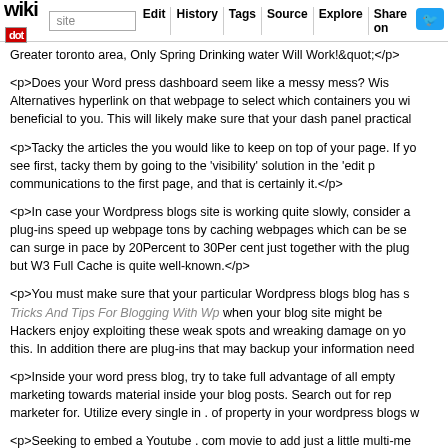wikidot | site | Edit | History | Tags | Source | Explore | Share on Twitter
Greater toronto area, Only Spring Drinking water Will Work!&quot;</p>
<p>Does your Word press dashboard seem like a messy mess? Wish Alternatives hyperlink on that webpage to select which containers you wi beneficial to you. This will likely make sure that your dash panel practical
<p>Tacky the articles the you would like to keep on top of your page. If yo see first, tacky them by going to the 'visibility' solution in the 'edit p communications to the first page, and that is certainly it.</p>
<p>In case your Wordpress blogs site is working quite slowly, consider a plug-ins speed up webpage tons by caching webpages which can be se can surge in pace by 20Percent to 30Per cent just together with the plug but W3 Full Cache is quite well-known.</p>
<p>You must make sure that your particular Wordpress blogs blog has s Tricks And Tips For Blogging With Wp when your blog site might be Hackers enjoy exploiting these weak spots and wreaking damage on yo this. In addition there are plug-ins that may backup your information need
<p>Inside your word press blog, try to take full advantage of all empty marketing towards material inside your blog posts. Search out for rep marketer for. Utilize every single in . of property in your wordpress blogs w
<p>Seeking to embed a Youtube . com movie to add just a little multi-me truly quickly. All that you should do is paste the Vimeo video clip talk abo Place it precisely where you want it to show on the page. The Vimeo mov
<p>Ahead of arranging a Wordpress blogs internet site, get support and s